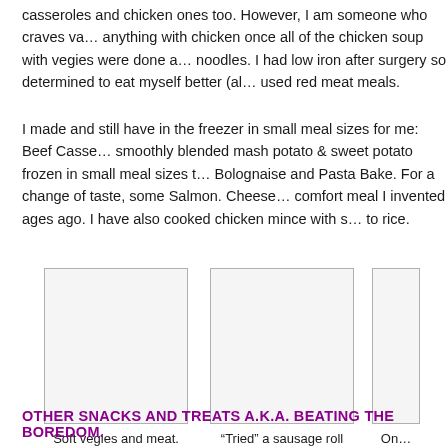casseroles and chicken ones too. However, I am someone who craves va… anything with chicken once all of the chicken soup with vegies were done a… noodles. I had low iron after surgery so determined to eat myself better (al… used red meat meals.
I made and still have in the freezer in small meal sizes for me: Beef Casse… smoothly blended mash potato & sweet potato frozen in small meal sizes t… Bolognaise and Pasta Bake. For a change of taste, some Salmon. Cheese… comfort meal I invented ages ago. I have also cooked chicken mince with s… to rice.
[Figure (photo): Soft vegies and meat image placeholder]
Soft vegies and meat. Needed slow eating too.
[Figure (photo): Sausage roll with tomato sauce image placeholder]
“Tried” a sausage roll with tomato sauce. Too hard.
[Figure (photo): Third food image partially visible]
On…
OTHER SNACKS AND TREATS A.K.A. BEATING THE BOREDOM.